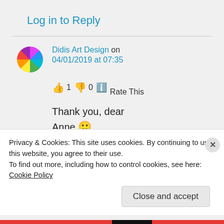Log in to Reply
Didis Art Design on 04/01/2019 at 07:35
👍 1 👎 0 Rate This
Thank you, dear
Anne 🙂
Hugs
Privacy & Cookies: This site uses cookies. By continuing to use this website, you agree to their use.
To find out more, including how to control cookies, see here: Cookie Policy
Close and accept